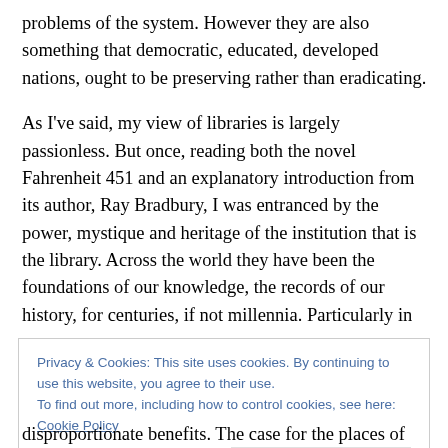problems of the system. However they are also something that democratic, educated, developed nations, ought to be preserving rather than eradicating.
As I've said, my view of libraries is largely passionless. But once, reading both the novel Fahrenheit 451 and an explanatory introduction from its author, Ray Bradbury, I was entranced by the power, mystique and heritage of the institution that is the library. Across the world they have been the foundations of our knowledge, the records of our history, for centuries, if not millennia. Particularly in
Privacy & Cookies: This site uses cookies. By continuing to use this website, you agree to their use.
To find out more, including how to control cookies, see here: Cookie Policy
Close and accept
disproportionate benefits. The case for the places of